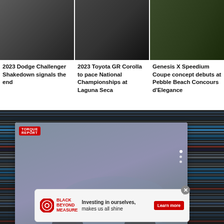[Figure (photo): 2023 Dodge Challenger Shakedown - muscle car in dark gray]
2023 Dodge Challenger Shakedown signals the end
[Figure (photo): 2023 Toyota GR Corolla at race track]
2023 Toyota GR Corolla to pace National Championships at Laguna Seca
[Figure (photo): Genesis X Speedium Coupe concept at Pebble Beach]
Genesis X Speedium Coupe concept debuts at Pebble Beach Concours d'Elegance
[Figure (photo): 2022 Toyota Supra in silver/blue on road - TheTorque Report logo visible]
2022 Toyota Supra Review: StillSuper, Fast, &Furious - TheTorque Report
[Figure (advertisement): Target Black Beyond Measure ad - Investing in ourselves, makes us all shine - Learn more button]